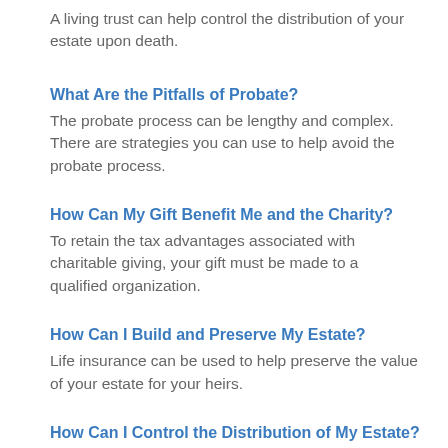A living trust can help control the distribution of your estate upon death.
What Are the Pitfalls of Probate?
The probate process can be lengthy and complex. There are strategies you can use to help avoid the probate process.
How Can My Gift Benefit Me and the Charity?
To retain the tax advantages associated with charitable giving, your gift must be made to a qualified organization.
How Can I Build and Preserve My Estate?
Life insurance can be used to help preserve the value of your estate for your heirs.
How Can I Control the Distribution of My Estate?
If you haven't taken steps already, consider planning now for the distribution of the assets of